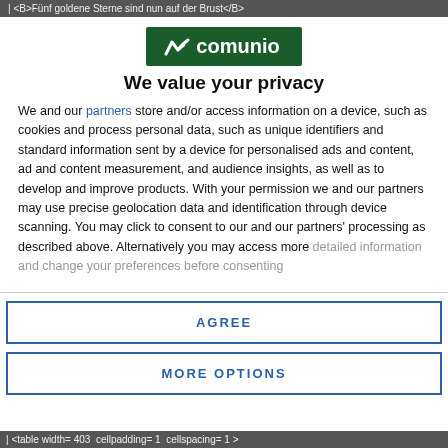| <B>Fünf goldene Sterne sind nun auf der Brust</B>
[Figure (logo): Comunio logo: white text 'comunio' with a wing/arrow icon on a dark green background]
We value your privacy
We and our partners store and/or access information on a device, such as cookies and process personal data, such as unique identifiers and standard information sent by a device for personalised ads and content, ad and content measurement, and audience insights, as well as to develop and improve products. With your permission we and our partners may use precise geolocation data and identification through device scanning. You may click to consent to our and our partners' processing as described above. Alternatively you may access more detailed information and change your preferences before consenting
AGREE
MORE OPTIONS
| <table width= 403  cellpadding= 1  cellspacing= 1 >